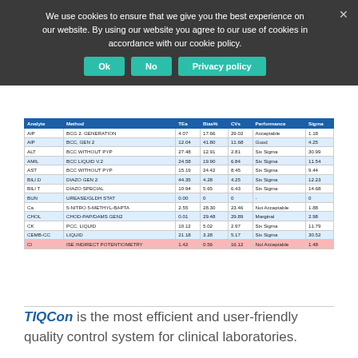We use cookies to ensure that we give you the best experience on our website. By using our website you agree to our use of cookies in accordance with our cookie policy.
| Analyte | Method | TEa | Bias% | CVs | Performance | Sigma |
| --- | --- | --- | --- | --- | --- | --- |
| AlP | BCG 2. GENERATION | 4.07 | 17.66 | 29.02 | Acceptable | 1.18 |
| AlP | BCC, GEN 2 | 12.04 | 41.80 | 11.68 | Good | 4.25 |
| ALT | BCC WITHOUT PYP | 27.48 | 12.91 | 2.81 | Six Sigma | 30.99 |
| AMIL | BCC LIQUID V.2 | 24.58 | 19.90 | 6.84 | Six Sigma | 11.54 |
| AST | BCC WITHOUT PYP | 15.19 | 24.42 | 8.45 | Six Sigma | 9.44 |
| BILI D | DIAZO GEN 2 | 44.35 | 4.28 | 4.25 | Six Sigma | 12.23 |
| BILI T | DIAZO SPECIAL | 10.94 | 5.65 | 6.43 | Six Sigma | 14.68 |
| BUN | UREASE/GLDH STAT | 0.00 | 0 | 0 | - | 0 |
| Ca | 5-NITRO 5-METHYL-BAPTA | 2.55 | 28.30 | 23.46 | Not Acceptable | 1.88 |
| CHOL | CHOD-PAP/DAMS GEN2 | 0.01 | 29.48 | 29.89 | Marginal | 2.98 |
| CK | PCC, LIQUID | 10.12 | 5.02 | 2.97 | Six Sigma | 11.79 |
| CEMB-CC | LIQUID | 21.18 | 3.28 | 5.17 | Six Sigma | 30.52 |
| Cl | ISE INDIRECT POTENTIOMETRY | 1.42 | 0.56 | 16.12 | Not Acceptable | 1.48 |
TIQCon is the most efficient and user-friendly quality control system for clinical laboratories.